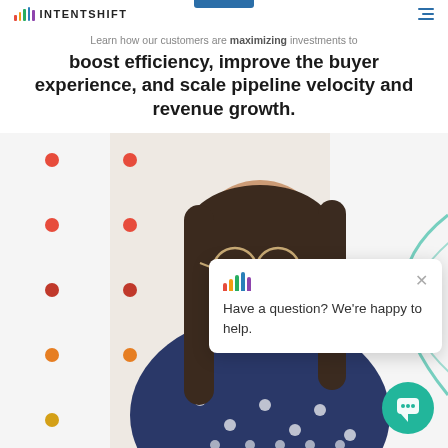[Figure (logo): Intentshift logo with colorful vertical bars and uppercase text INTENTSHIFT]
Learn how our customers are maximizing investments to boost efficiency, improve the buyer experience, and scale pipeline velocity and revenue growth.
[Figure (photo): Woman in glasses and dark blue polka dot shirt, smiling, holding her glasses frame, with colorful dots pattern on the left side of the background]
[Figure (other): Chat popup widget with Intentshift logo bars, close X button, and text 'Have a question? We're happy to help.' with teal chat bubble button in lower right]